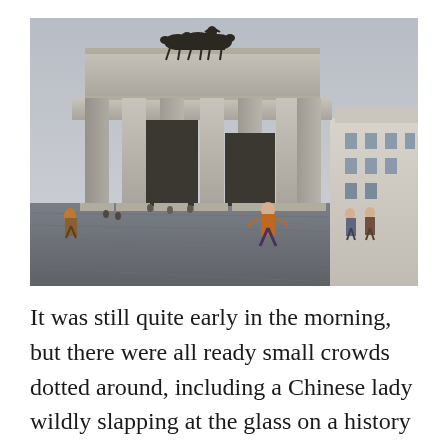[Figure (photo): Photograph of the Brandenburg Gate in Berlin, Germany. The neoclassical monument with large columns and the Quadriga sculpture on top is shown from a low angle. The sky is overcast and grey. Tourists are visible in the foreground plaza below the gate. A white building is visible to the right.]
It was still quite early in the morning, but there were all ready small crowds dotted around, including a Chinese lady wildly slapping at the glass on a history sign with her walking stick for